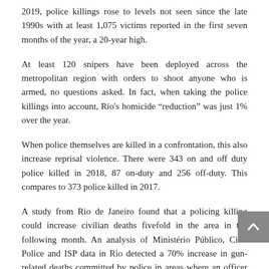2019, police killings rose to levels not seen since the late 1990s with at least 1,075 victims reported in the first seven months of the year, a 20-year high.
At least 120 snipers have been deployed across the metropolitan region with orders to shoot anyone who is armed, no questions asked. In fact, when taking the police killings into account, Rio's homicide “reduction” was just 1% over the year.
When police themselves are killed in a confrontation, this also increase reprisal violence. There were 343 on and off duty police killed in 2018, 87 on-duty and 256 off-duty. This compares to 373 police killed in 2017.
A study from Rio de Janeiro found that a policing killing could increase civilian deaths fivefold in the area in the following month. An analysis of Ministério Público, Civil Police and ISP data in Rio detected a 70% increase in gun-related deaths committed by police in areas where an officer had been killed.
The president calls for more police impunity and his determination to loosen gun laws is also encouraging